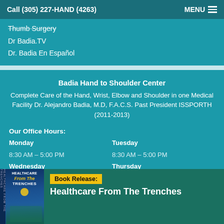Call (305) 227-HAND (4263)    MENU
Thumb Surgery
Dr Badia.TV
Dr. Badia En Español
Badia Hand to Shoulder Center
Complete Care of the Hand, Wrist, Elbow and Shoulder in one Medical Facility Dr. Alejandro Badia, M.D, F.A.C.S. Past President ISSPORTH (2011-2013)
Our Office Hours:
Monday
8:30 AM – 5:00 PM
Tuesday
8:30 AM – 5:00 PM
Wednesday
8:30 – PM
Thursday
8:30 AM – 5:00 PM
Friday
Saturday
[Figure (photo): Book cover for Healthcare From The Trenches by Dr. Alejandro Badia]
Book Release:
Healthcare From The Trenches